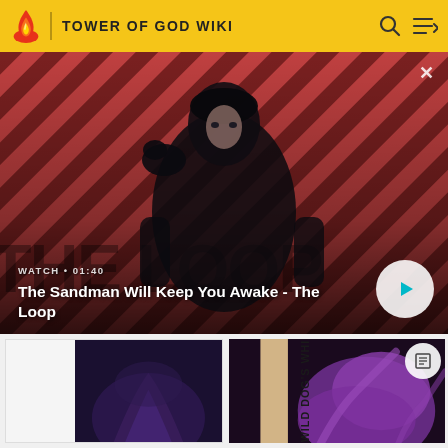TOWER OF GOD WIKI
[Figure (screenshot): Video banner showing a man in black with a crow on his shoulder against a red diagonal stripe background. Text overlay reads WATCH • 01:40 and The Sandman Will Keep You Awake - The Loop with a play button.]
WATCH • 01:40
The Sandman Will Keep You Awake - The Loop
[Figure (screenshot): Thumbnail image of dark fantasy art at bottom left]
[Figure (screenshot): Thumbnail image with text WILD DOG'S WHI against purple/dark background at bottom right]